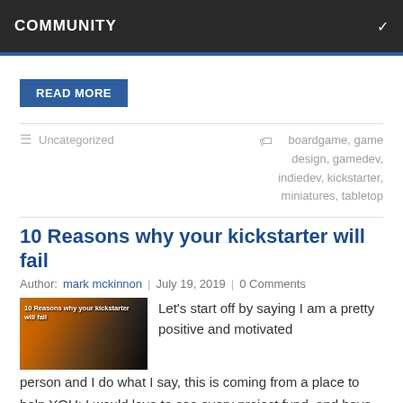COMMUNITY
READ MORE
Uncategorized
boardgame, game design, gamedev, indiedev, kickstarter, miniatures, tabletop
10 Reasons why your kickstarter will fail
Author: mark mckinnon | July 19, 2019 | 0 Comments
[Figure (photo): Article thumbnail image with text '10 Reasons why your kickstarter will fail' overlaid on a stylized background]
Let's start off by saying I am a pretty positive and motivated person and I do what I say, this is coming from a place to help YOU: I would love to see every project fund, and have even more…
READ MORE
Developer diary
campaign, help, kickstarter